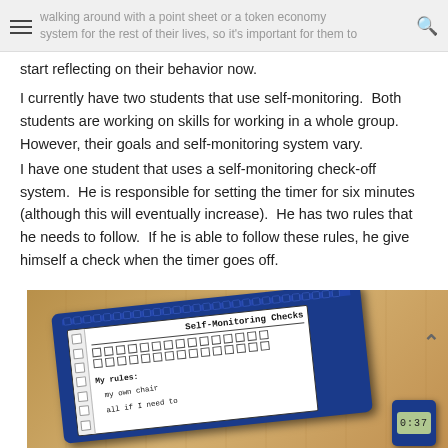walking around with a point sheet or a token economy system for the rest of their lives, so it's important for them to
start reflecting on their behavior now.
I currently have two students that use self-monitoring.  Both students are working on skills for working in a whole group.  However, their goals and self-monitoring system vary.
I have one student that uses a self-monitoring check-off system.  He is responsible for setting the timer for six minutes (although this will eventually increase).  He has two rules that he needs to follow.  If he is able to follow these rules, he give himself a check when the timer goes off.
[Figure (photo): Photo of a self-monitoring check card with blue holder on a wooden surface. The card reads 'Self-Monitoring Checks' with rows of checkbox squares, 'My rules:' label, and partially visible text 'my own chair' and 'if I need to'. A timer device is visible at the bottom right.]